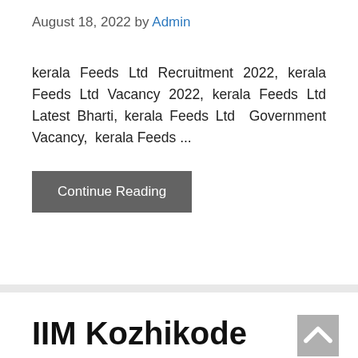August 18, 2022 by Admin
kerala Feeds Ltd Recruitment 2022, kerala Feeds Ltd Vacancy 2022, kerala Feeds Ltd Latest Bharti, kerala Feeds Ltd Government Vacancy, kerala Feeds ...
Continue Reading
IIM Kozhikode Recruitment 2022 –